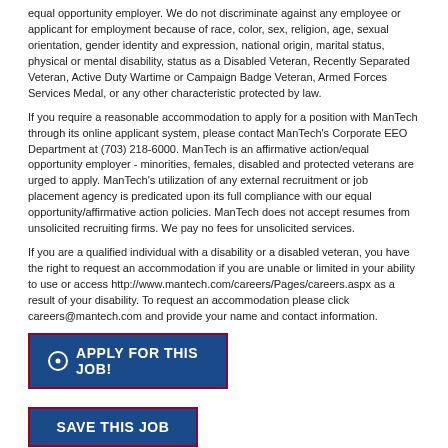equal opportunity employer. We do not discriminate against any employee or applicant for employment because of race, color, sex, religion, age, sexual orientation, gender identity and expression, national origin, marital status, physical or mental disability, status as a Disabled Veteran, Recently Separated Veteran, Active Duty Wartime or Campaign Badge Veteran, Armed Forces Services Medal, or any other characteristic protected by law.
If you require a reasonable accommodation to apply for a position with ManTech through its online applicant system, please contact ManTech's Corporate EEO Department at (703) 218-6000. ManTech is an affirmative action/equal opportunity employer - minorities, females, disabled and protected veterans are urged to apply. ManTech's utilization of any external recruitment or job placement agency is predicated upon its full compliance with our equal opportunity/affirmative action policies. ManTech does not accept resumes from unsolicited recruiting firms. We pay no fees for unsolicited services.
If you are a qualified individual with a disability or a disabled veteran, you have the right to request an accommodation if you are unable or limited in your ability to use or access http://www.mantech.com/careers/Pages/careers.aspx as a result of your disability. To request an accommodation please click careers@mantech.com and provide your name and contact information.
APPLY FOR THIS JOB!
SAVE THIS JOB
EMAIL THIS JOB TO A FRIEND